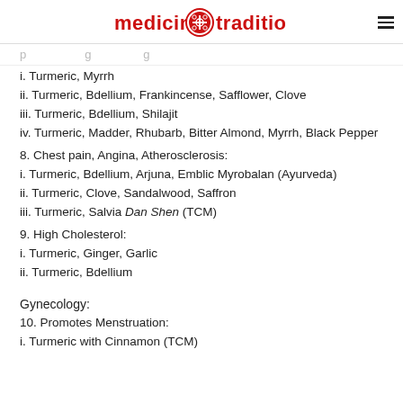medicine traditions
i. Turmeric, Myrrh
ii. Turmeric, Bdellium, Frankincense, Safflower, Clove
iii. Turmeric, Bdellium, Shilajit
iv. Turmeric, Madder, Rhubarb, Bitter Almond, Myrrh, Black Pepper
8. Chest pain, Angina, Atherosclerosis:
i. Turmeric, Bdellium, Arjuna, Emblic Myrobalan (Ayurveda)
ii. Turmeric, Clove, Sandalwood, Saffron
iii. Turmeric, Salvia Dan Shen (TCM)
9. High Cholesterol:
i. Turmeric, Ginger, Garlic
ii. Turmeric, Bdellium
Gynecology:
10. Promotes Menstruation:
i. Turmeric with Cinnamon (TCM)